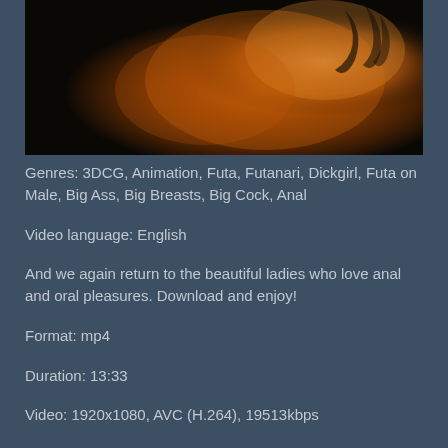[Figure (photo): Dark thumbnail image showing warm amber/orange tones of figures, partially cropped at top of page]
Genres: 3DCG, Animation, Futa, Futanari, Dickgirl, Futa on Male, Big Ass, Big Breasts, Big Cock, Anal
Video language: English
And we again return to the beautiful ladies who love anal and oral pleasures. Download and enjoy!
Format: mp4
Duration: 13:33
Video: 1920x1080, AVC (H.264), 19513kbps
Audio: 309kbps